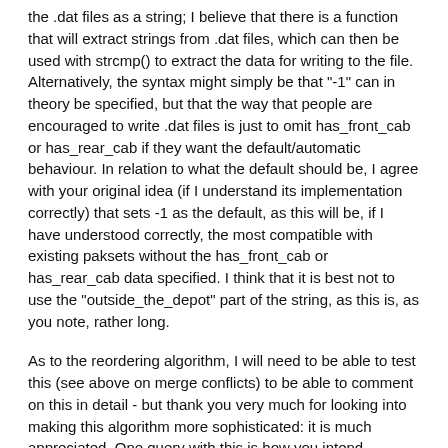the .dat files as a string; I believe that there is a function that will extract strings from .dat files, which can then be used with strcmp() to extract the data for writing to the file. Alternatively, the syntax might simply be that "-1" can in theory be specified, but that the way that people are encouraged to write .dat files is just to omit has_front_cab or has_rear_cab if they want the default/automatic behaviour. In relation to what the default should be, I agree with your original idea (if I understand its implementation correctly) that sets -1 as the default, as this will be, if I have understood correctly, the most compatible with existing paksets without the has_front_cab or has_rear_cab data specified. I think that it is best not to use the "outside_the_depot" part of the string, as this is, as you note, rather long.
As to the reordering algorithm, I will need to be able to test this (see above on merge conflicts) to be able to comment on this in detail - but thank you very much for looking into making this algorithm more sophisticated: it is much appreciated. One query with this is how you intend can_lead_from_rear to interact with has_rear_cab; is the idea that has_front_cab and has_rear_cab will supersede can_lead_from_rear, which will be retained for legacy compatibility, or is the idea that they will continue to retain distinct and useful functions?